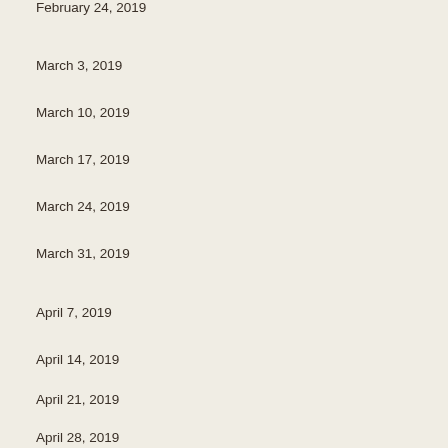February 24, 2019
March 3, 2019
March 10, 2019
March 17, 2019
March 24, 2019
March 31, 2019
April 7, 2019
April 14, 2019
April 21, 2019
April 28, 2019